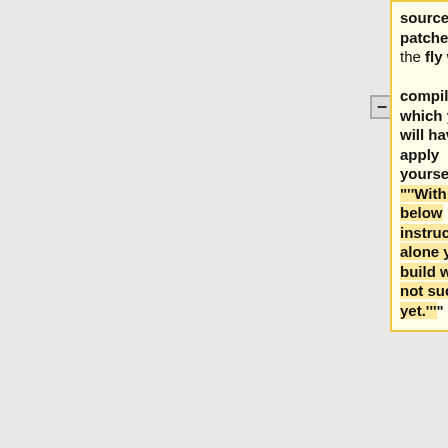source patches on the fly when compiling, which you will have to apply yourself. """With the below instructions alone your build will not succeed yet."""
sudo apt-key adv --keyserver keyserver.ubuntu.com --recv-keys 86B72ED9